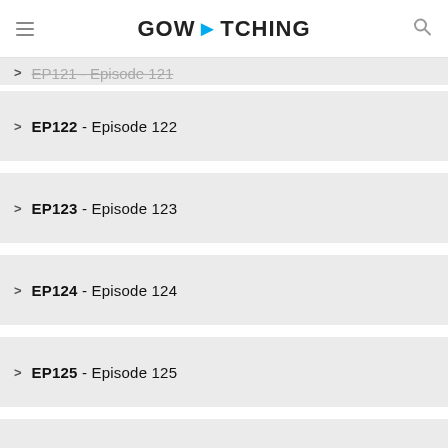GOWATCHING
EP122 - Episode 122
EP123 - Episode 123
EP124 - Episode 124
EP125 - Episode 125
EP126 - Episode 126
EP127 - Episode 127